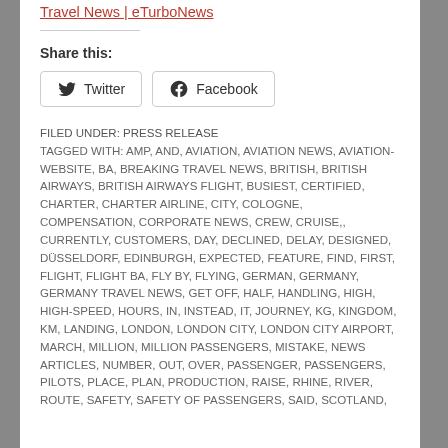Travel News | eTurboNews
Share this:
Twitter  Facebook
FILED UNDER: PRESS RELEASE
TAGGED WITH: AMP, AND, AVIATION, AVIATION NEWS, AVIATION-WEBSITE, BA, BREAKING TRAVEL NEWS, BRITISH, BRITISH AIRWAYS, BRITISH AIRWAYS FLIGHT, BUSIEST, CERTIFIED, CHARTER, CHARTER AIRLINE, CITY, COLOGNE, COMPENSATION, CORPORATE NEWS, CREW, CRUISE,, CURRENTLY, CUSTOMERS, DAY, DECLINED, DELAY, DESIGNED, DÜSSELDORF, EDINBURGH, EXPECTED, FEATURE, FIND, FIRST, FLIGHT, FLIGHT BA, FLY BY, FLYING, GERMAN, GERMANY, GERMANY TRAVEL NEWS, GET OFF, HALF, HANDLING, HIGH, HIGH-SPEED, HOURS, IN, INSTEAD, IT, JOURNEY, KG, KINGDOM, KM, LANDING, LONDON, LONDON CITY, LONDON CITY AIRPORT, MARCH, MILLION, MILLION PASSENGERS, MISTAKE, NEWS ARTICLES, NUMBER, OUT, OVER, PASSENGER, PASSENGERS, PILOTS, PLACE, PLAN, PRODUCTION, RAISE, RHINE, RIVER, ROUTE, SAFETY, SAFETY OF PASSENGERS, SAID, SCOTLAND,